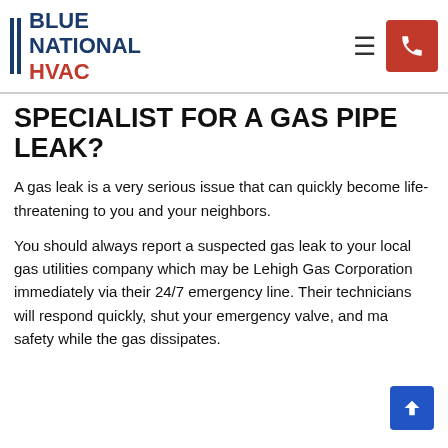BLUE NATIONAL HVAC
SPECIALIST FOR A GAS PIPE LEAK?
A gas leak is a very serious issue that can quickly become life-threatening to you and your neighbors.
You should always report a suspected gas leak to your local gas utilities company which may be Lehigh Gas Corporation immediately via their 24/7 emergency line. Their technicians will respond quickly, shut your emergency valve, and make safety while the gas dissipates.